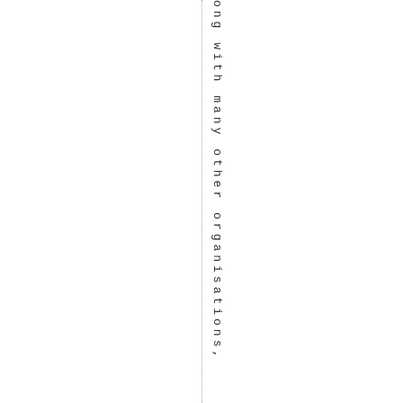ong with many other organisations,